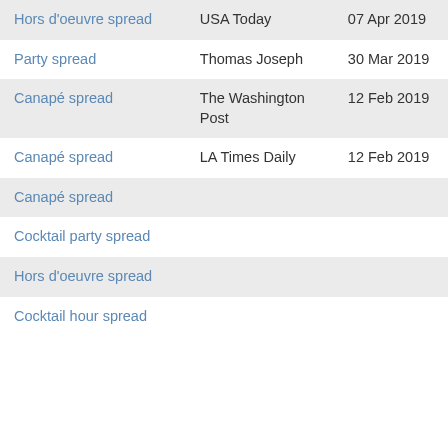| Hors d'oeuvre spread | USA Today | 07 Apr 2019 |
| Party spread | Thomas Joseph | 30 Mar 2019 |
| Canapé spread | The Washington Post | 12 Feb 2019 |
| Canapé spread | LA Times Daily | 12 Feb 2019 |
| Canapé spread |  |  |
| Cocktail party spread |  |  |
| Hors d'oeuvre spread |  |  |
| Cocktail hour spread |  |  |